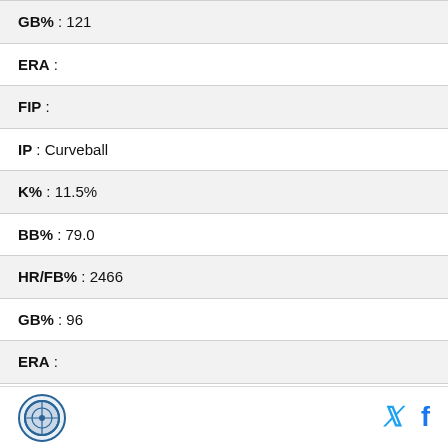| GB% | 121 |
| ERA |  |
| FIP |  |
| IP | Curveball |
| K% | 11.5% |
| BB% | 79.0 |
| HR/FB% | 2466 |
| GB% | 96 |
| ERA |  |
| FIP |  |
| IP | Slider |
Logo | Twitter | Facebook